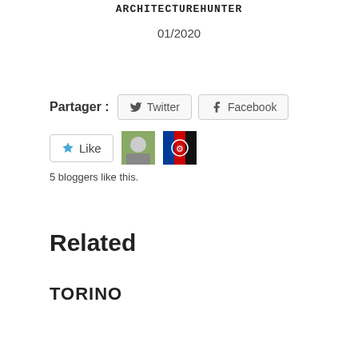ARCHITECTUREHUNTER
01/2020
Partager :
Related
TORINO